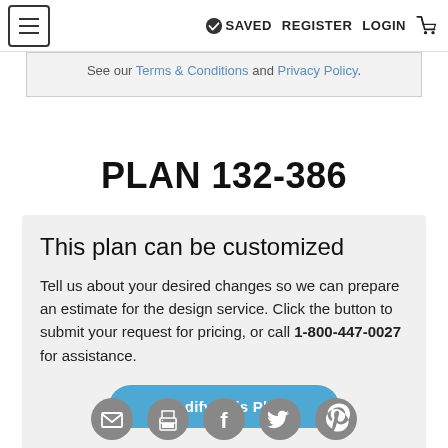≡  ✓ SAVED  REGISTER  LOGIN  🛒
See our Terms & Conditions and Privacy Policy.
PLAN 132-386
This plan can be customized
Tell us about your desired changes so we can prepare an estimate for the design service. Click the button to submit your request for pricing, or call 1-800-447-0027 for assistance.
[Modify This Plan]
[Figure (infographic): Row of five social media icon buttons: email, print, Facebook, Twitter, Pinterest — all in gray circles]